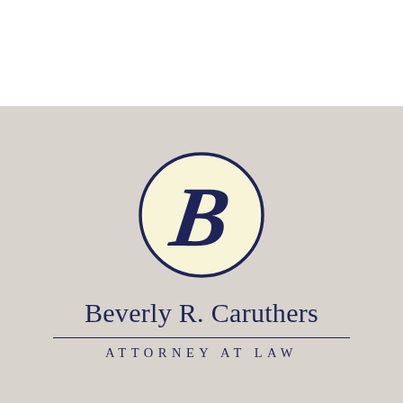[Figure (logo): Beverly R. Caruthers Attorney at Law logo. Top white band, lower beige/grey background. Circular emblem with cream/yellow fill and navy border containing a stylized script letter B. Below the emblem: name 'Beverly R. Caruthers' in navy serif font, horizontal divider line, and 'ATTORNEY AT LAW' in navy spaced uppercase serif font.]